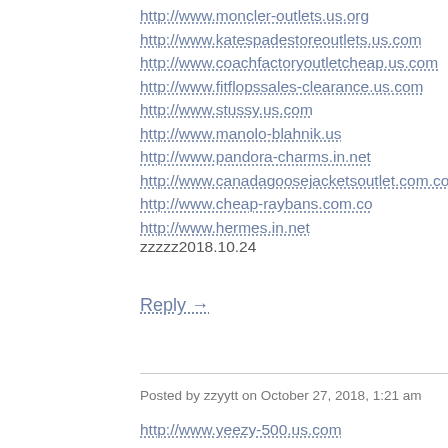http://www.moncler-outlets.us.org
http://www.katespadestoreoutlets.us.com
http://www.coachfactoryoutletcheap.us.com
http://www.fitflopssales-clearance.us.com
http://www.stussy.us.com
http://www.manolo-blahnik.us
http://www.pandora-charms.in.net
http://www.canadagoosejacketsoutlet.com.co
http://www.cheap-raybans.com.co
http://www.hermes.in.net
zzzzz2018.10.24
Reply →
Posted by zzyytt on October 27, 2018, 1:21 am
http://www.yeezy-500.us.com
http://www.shoesjordan.us.com